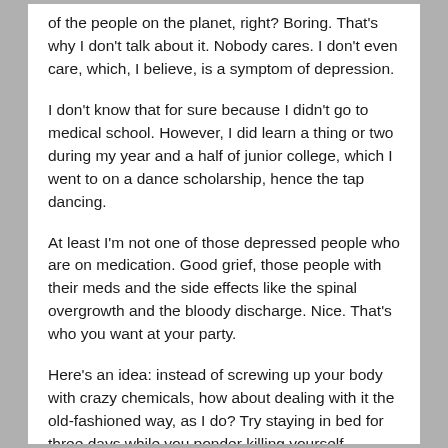of the people on the planet, right? Boring. That's why I don't talk about it. Nobody cares. I don't even care, which, I believe, is a symptom of depression.
I don't know that for sure because I didn't go to medical school. However, I did learn a thing or two during my year and a half of junior college, which I went to on a dance scholarship, hence the tap dancing.
At least I'm not one of those depressed people who are on medication. Good grief, those people with their meds and the side effects like the spinal overgrowth and the bloody discharge. Nice. That's who you want at your party.
Here's an idea: instead of screwing up your body with crazy chemicals, how about dealing with it the old-fashioned way, as I do? Try staying in bed for three days while you ponder killing yourself, knowing you can't because God will get mad at you and it will make